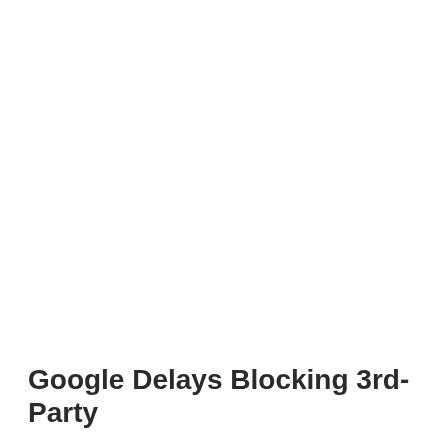Google Delays Blocking 3rd-Party